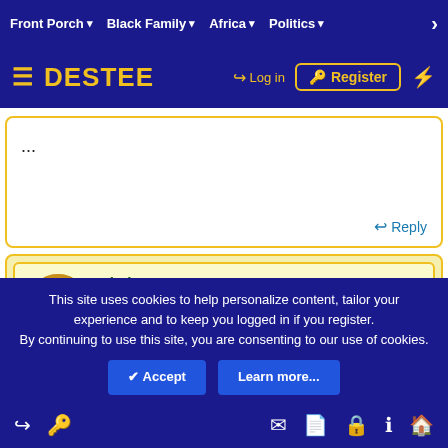Front Porch ▾  Black Family ▾  Africa ▾  Politics ▾  >
[Figure (screenshot): DESTEE website logo bar with hamburger menu, Log in and Register buttons]
...
Reply
Clyde C Coger Jr
Well-Known Member  PREMIUM MEMBER
...
Great!
This site uses cookies to help personalize content, tailor your experience and to keep you logged in if you register.
By continuing to use this site, you are consenting to our use of cookies.
✓ Accept   Learn more...
Log in  Register  [mail] [document] [lock] [info] [home]